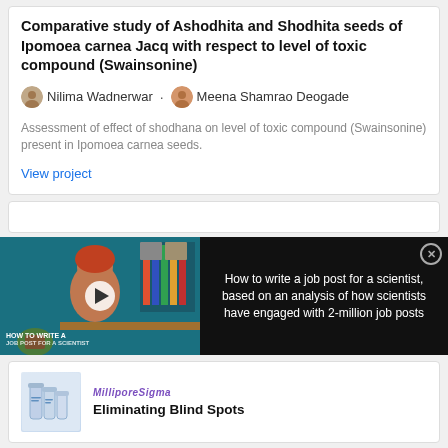Comparative study of Ashodhita and Shodhita seeds of Ipomoea carnea Jacq with respect to level of toxic compound (Swainsonine)
Nilima Wadnerwar · Meena Shamrao Deogade
Assessment of effect of shodhana on level of toxic compound (Swainsonine) present in Ipomoea carnea seeds.
View project
[Figure (screenshot): Video thumbnail showing a woman at a desk with text overlay 'HOW TO WRITE A JOB POST FOR A SCIENTIST' alongside black panel with text: How to write a job post for a scientist, based on an analysis of how scientists have engaged with 2-million job posts]
[Figure (logo): MilliporeSigma logo and advertisement for 'Eliminating Blind Spots' with product image]